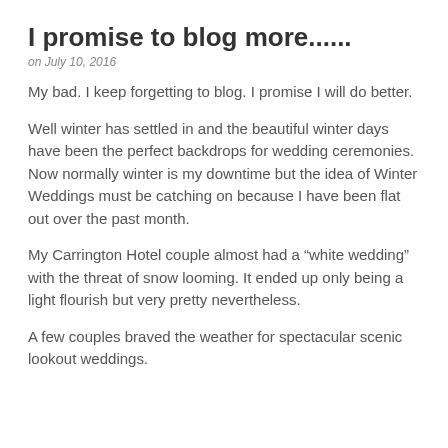I promise to blog more......
on July 10, 2016
My bad.  I keep forgetting to blog. I promise I will do better.
Well winter has settled in and the beautiful winter days have been the perfect backdrops for wedding ceremonies.  Now normally winter is my downtime but the idea of Winter Weddings must be catching on because I have been flat out over the past month.
My Carrington Hotel couple almost had a “white wedding” with the threat of snow looming.  It ended up only being a light flourish but very pretty nevertheless.
A few couples braved the weather for spectacular scenic lookout weddings.